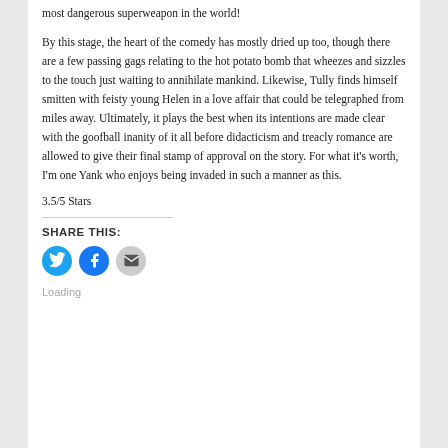most dangerous superweapon in the world!
By this stage, the heart of the comedy has mostly dried up too, though there are a few passing gags relating to the hot potato bomb that wheezes and sizzles to the touch just waiting to annihilate mankind. Likewise, Tully finds himself smitten with feisty young Helen in a love affair that could be telegraphed from miles away. Ultimately, it plays the best when its intentions are made clear with the goofball inanity of it all before didacticism and treacly romance are allowed to give their final stamp of approval on the story. For what it's worth, I'm one Yank who enjoys being invaded in such a manner as this.
3.5/5 Stars
SHARE THIS:
[Figure (infographic): Three social sharing icon buttons: Twitter (blue circle with bird icon), Facebook (blue circle with f icon), Email (gray circle with envelope icon)]
Loading